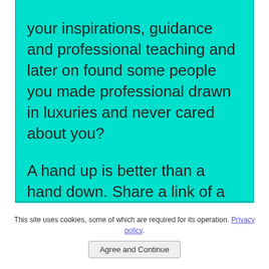your inspirations, guidance and professional teaching and later on found some people you made professional drawn in luxuries and never cared about you?

A hand up is better than a hand down. Share a link of a page you liked in great sites, but please not FACEBOOK. I am a man of principles.
This site uses cookies, some of which are required for its operation. Privacy policy